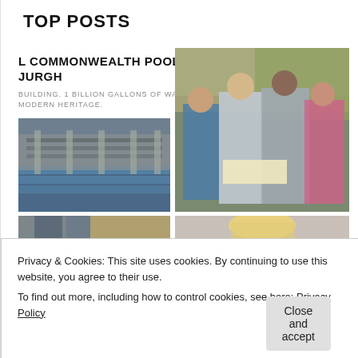TOP POSTS
L COMMONWEALTH POOL, JURGH
BUILDING. 1 BILLION GALLONS OF WATER. MODERN HERITAGE.
[Figure (photo): Group of hikers (young people) looking at a map together in a forest setting]
[Figure (photo): Indoor swimming pool facility — Commonwealth Pool]
[Figure (photo): Person's hands and feet, appears to be doing a hands-on activity or craft]
[Figure (photo): Blonde woman looking down, partial view]
[Figure (photo): Partially visible image at bottom left]
[Figure (photo): Partially visible image at bottom right]
Privacy & Cookies: This site uses cookies. By continuing to use this website, you agree to their use.
To find out more, including how to control cookies, see here: Privacy Policy
Close and accept